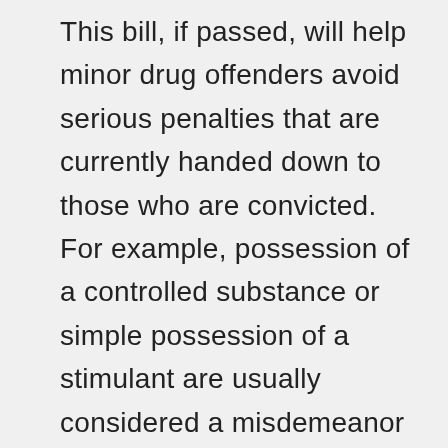This bill, if passed, will help minor drug offenders avoid serious penalties that are currently handed down to those who are convicted. For example, possession of a controlled substance or simple possession of a stimulant are usually considered a misdemeanor under California law, but it is still punishable by up to one year in county jail and a fine of up to $1,000. Controlled substances include narcotics and other illegal drugs such as cocaine, heroin, and LSD. But, controlled substances also include prescription drugs that are taken without